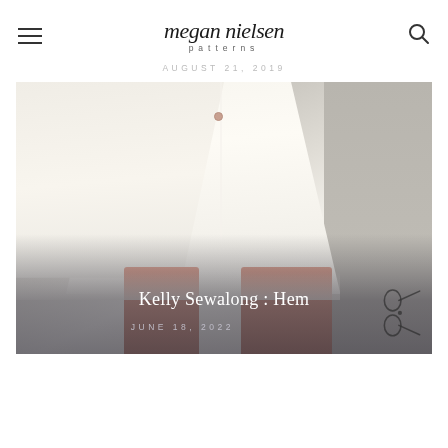megan nielsen patterns
AUGUST 21, 2019
[Figure (photo): Close-up photo of a person wearing a white/cream button-front midi skirt, showing the lower half of the garment and legs. Background is a grey concrete or stone wall. Overlaid text reads 'Kelly Sewalong : Hem' and 'JUNE 18, 2022' with a scissors icon in the lower right.]
Kelly Sewalong : Hem
JUNE 18, 2022